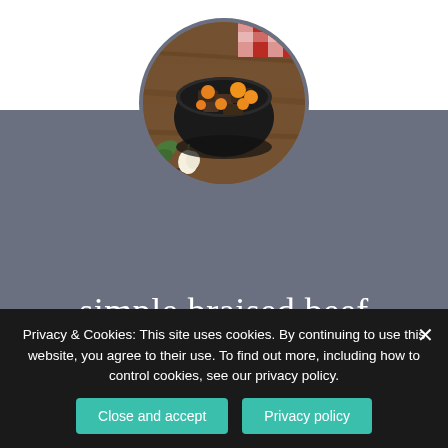[Figure (photo): Circular cropped photo of braised beef in a black cast iron pot with orange/yellow vegetables, on a wooden background with garlic and herbs]
simple braised beef
Author: Myles
Total Time: 2 hours 40 minutes
Privacy & Cookies: This site uses cookies. By continuing to use this website, you agree to their use. To find out more, including how to control cookies, see our privacy policy.
Close and accept
Privacy policy